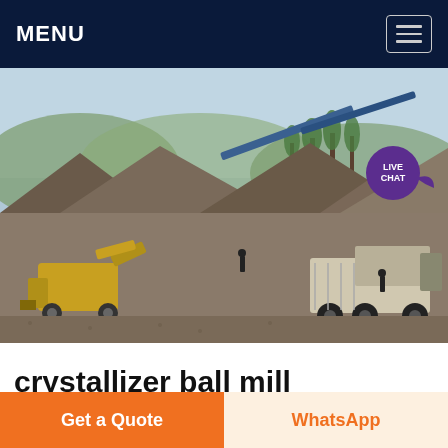MENU
[Figure (photo): Outdoor mining/quarry site with heavy machinery including a yellow front loader, large dump truck being loaded with aggregate/gravel, conveyor belts, and large piles of crushed stone. Mountains and trees visible in background, several workers on site.]
crystallizer ball mill indonesia
Get a Quote
WhatsApp